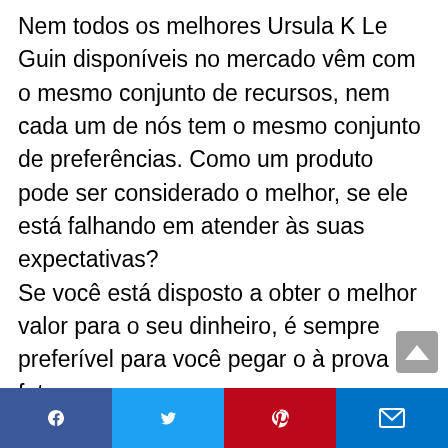Nem todos os melhores Ursula K Le Guin disponíveis no mercado vêm com o mesmo conjunto de recursos, nem cada um de nós tem o mesmo conjunto de preferências. Como um produto pode ser considerado o melhor, se ele está falhando em atender às suas expectativas? Se você está disposto a obter o melhor valor para o seu dinheiro, é sempre preferível para você pegar o à prova de futuro. Se você está apenas falhando em ter uma ideia, faça uma coisa. Crie uma lista de todos os itens que você está procurando no Ursula K Le Guin e tente comparar todos esses modelos honestamente. Verifique o que corresponde aos requisitos do seu recurso e, uma vez feito com ele